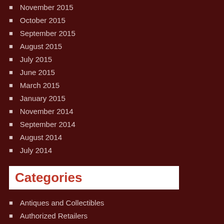November 2015
October 2015
September 2015
August 2015
July 2015
June 2015
March 2015
January 2015
November 2014
September 2014
August 2014
July 2014
Categories
Antiques and Collectibles
Authorized Retailers